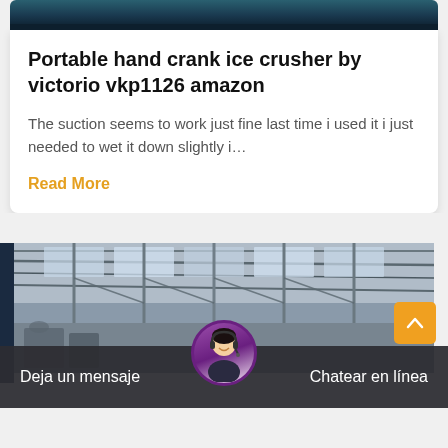[Figure (photo): Top portion of a product/article card image strip showing a dark teal/navy colored background, partially visible]
Portable hand crank ice crusher by victorio vkp1126 amazon
The suction seems to work just fine last time i used it i just needed to wet it down slightly i…
Read More
[Figure (photo): Interior of an industrial factory or warehouse showing a high ceiling with steel beams and skylights, natural light coming through roof panels]
Deja un mensaje
Chatear en línea